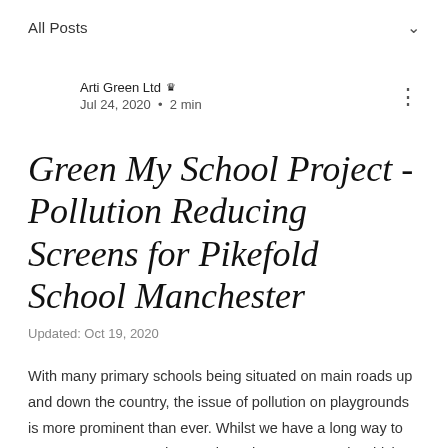All Posts
Arti Green Ltd · Jul 24, 2020 · 2 min
Green My School Project - Pollution Reducing Screens for Pikefold School Manchester
Updated: Oct 19, 2020
With many primary schools being situated on main roads up and down the country, the issue of pollution on playgrounds is more prominent than ever. Whilst we have a long way to go as a country to reduce carbon, there are ways in which we can harness nature to help reduce